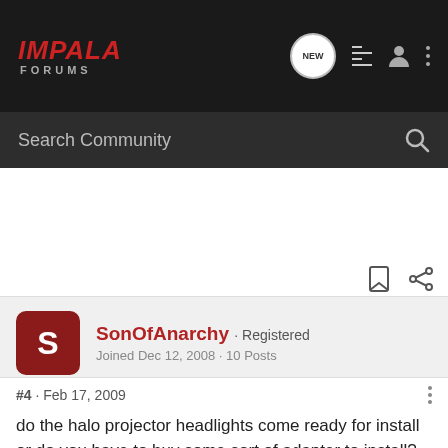IMPALA FORUMS
Search Community
SonOfAnarchy · Registered
Joined Dec 12, 2008 · 10 Posts
#4 · Feb 17, 2009
do the halo projector headlights come ready for install or do you have to buy some sort of adapter to install?